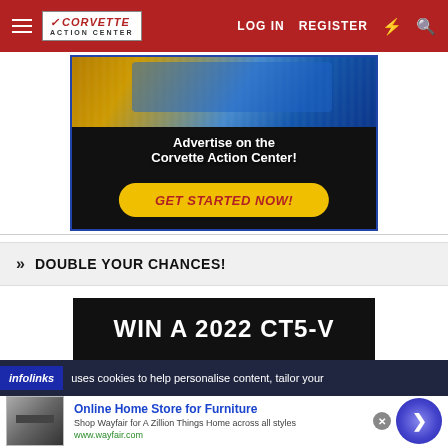Corvette Action Center — LOG IN  REGISTER
[Figure (screenshot): Advertisement banner: 'Advertise on the Corvette Action Center! GET STARTED NOW!' with blue Corvette car image and yellow button]
» DOUBLE YOUR CHANCES!
[Figure (screenshot): WIN A 2022 CT5-V promotional banner on dark background]
infolinks — uses cookies to help personalise content, tailor your
[Figure (screenshot): Wayfair advertisement: 'Online Home Store for Furniture — Shop Wayfair for A Zillion Things Home across all styles — www.wayfair.com']